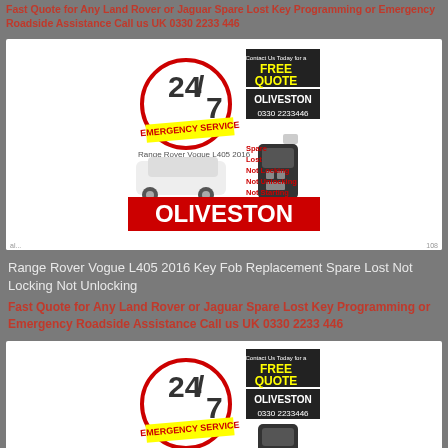Fast Quote for Any Land Rover or Jaguar Spare Lost Key Programming or Emergency Roadside Assistance Call us UK 0330 2233 446
[Figure (advertisement): Oliveston 24/7 Emergency Service ad for Range Rover Vogue L405 2016 Key Fob with FREE QUOTE banner, phone 0330 2233446, services listed: Spare, Lost, Not Locking, Not Unlocking, Not Starting. OLIVESTON branding at bottom in white text on red.]
Range Rover Vogue L405 2016 Key Fob Replacement Spare Lost Not Locking Not Unlocking
Fast Quote for Any Land Rover or Jaguar Spare Lost Key Programming or Emergency Roadside Assistance Call us UK 0330 2233 446
[Figure (advertisement): Oliveston 24/7 Emergency Service ad partial view, same branding as above with FREE QUOTE banner and OLIVESTON 0330 2233446.]